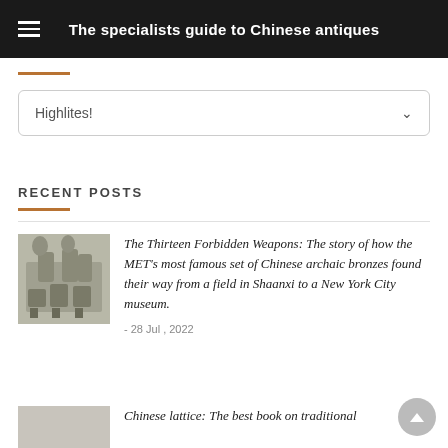The specialists guide to Chinese antiques
Highlites!
RECENT POSTS
[Figure (photo): Photo of Chinese archaic bronze vessels/weapons displayed on a light background]
The Thirteen Forbidden Weapons: The story of how the MET's most famous set of Chinese archaic bronzes found their way from a field in Shaanxi to a New York City museum.
- 28 Jul , 2022
Chinese lattice: The best book on traditional